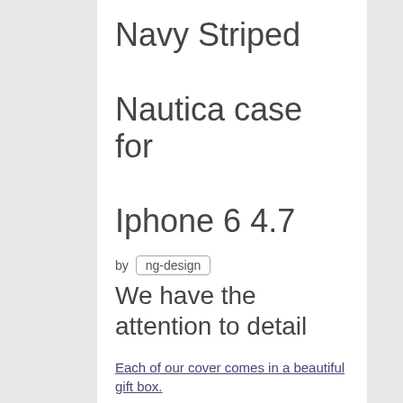Navy Striped Nautica case for Iphone 6 4.7
by ng-design
We have the attention to detail
Each of our cover comes in a beautiful gift box.
[Figure (photo): Product image showing a Mobilinnon branded phone case in packaging box]